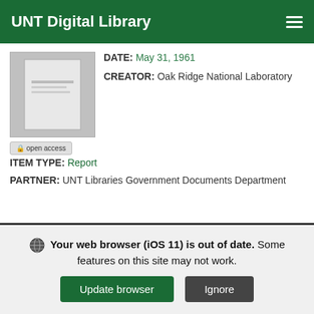UNT Digital Library
DATE: May 31, 1961
CREATOR: Oak Ridge National Laboratory
[Figure (screenshot): Thumbnail of a document page with 'open access' badge]
ITEM TYPE: Report
PARTNER: UNT Libraries Government Documents Department
Spectral Shift Control Reactor Design and Economic Study
Study of nuclear power plants
Your web browser (iOS 11) is out of date. Some features on this site may not work.